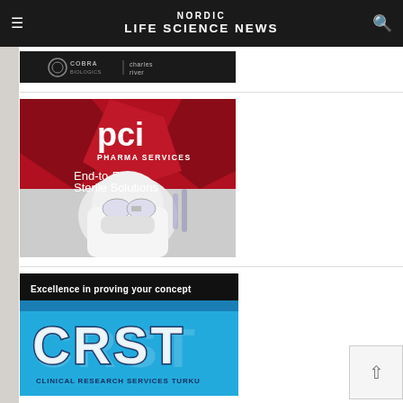NORDIC LIFE SCIENCE NEWS
[Figure (logo): Cobra Biologics | Charles River advertisement banner, dark background with logos]
[Figure (illustration): PCI Pharma Services advertisement - red background with text 'pci PHARMA SERVICES End-to-End Sterile Solutions' and image of person in cleanroom gear]
[Figure (illustration): CRST Clinical Research Services Turku advertisement - 'Excellence in proving your concept' with large blue CRST letters]